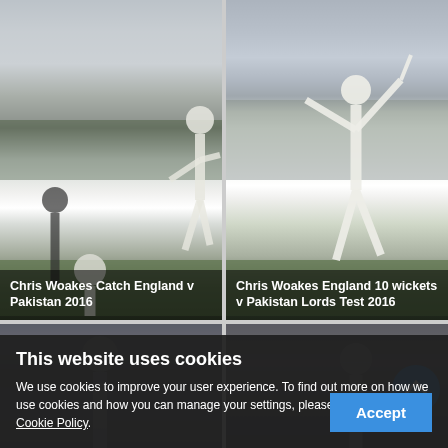[Figure (photo): Cricket player Chris Woakes leaping during delivery, England v Pakistan 2016, crowd in background]
Chris Woakes Catch England v Pakistan 2016
[Figure (photo): Chris Woakes celebrating with arms raised, England v Pakistan Lords Test 2016]
Chris Woakes England 10 wickets v Pakistan Lords Test 2016
[Figure (photo): Partial cricket photo, lower half of page left]
[Figure (photo): Partial cricket photo, lower half of page right, showing Chris Woakes]
This website uses cookies
We use cookies to improve your user experience. To find out more on how we use cookies and how you can manage your settings, please see our Privacy & Cookie Policy.